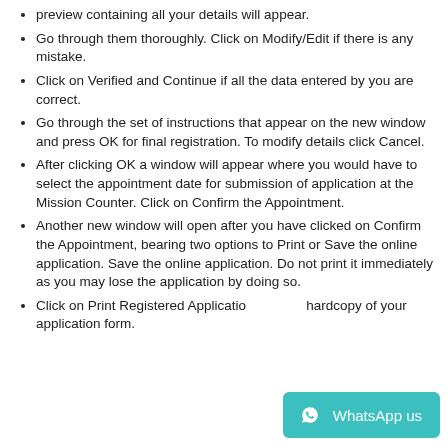preview containing all your details will appear.
Go through them thoroughly. Click on Modify/Edit if there is any mistake.
Click on Verified and Continue if all the data entered by you are correct.
Go through the set of instructions that appear on the new window and press OK for final registration. To modify details click Cancel.
After clicking OK a window will appear where you would have to select the appointment date for submission of application at the Mission Counter. Click on Confirm the Appointment.
Another new window will open after you have clicked on Confirm the Appointment, bearing two options to Print or Save the online application. Save the online application. Do not print it immediately as you may lose the application by doing so.
Click on Print Registered Application hardcopy of your application form.